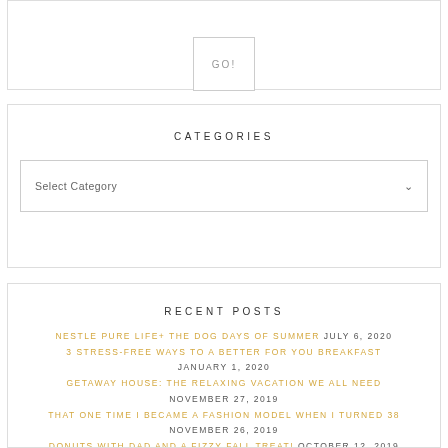GO!
CATEGORIES
Select Category
RECENT POSTS
NESTLE PURE LIFE+ THE DOG DAYS OF SUMMER JULY 6, 2020
3 STRESS-FREE WAYS TO A BETTER FOR YOU BREAKFAST JANUARY 1, 2020
GETAWAY HOUSE: THE RELAXING VACATION WE ALL NEED NOVEMBER 27, 2019
THAT ONE TIME I BECAME A FASHION MODEL WHEN I TURNED 38 NOVEMBER 26, 2019
DONUTS WITH DAD AND A FIZZY FALL TREAT! OCTOBER 12, 2019